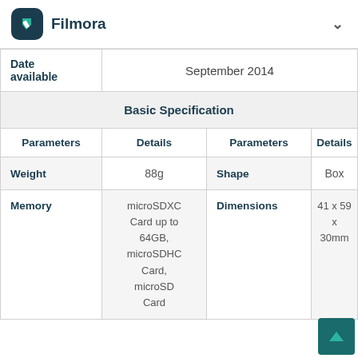Filmora
| Parameters | Details | Parameters | Details |
| --- | --- | --- | --- |
| Date available | September 2014 |  |  |
| Basic Specification |  |  |  |
| Parameters | Details | Parameters | Details |
| Weight | 88g | Shape | Box |
| Memory | microSDXC Card up to 64GB, microSDHC Card, microSD Card | Dimensions | 41 x 59 x 30mm |